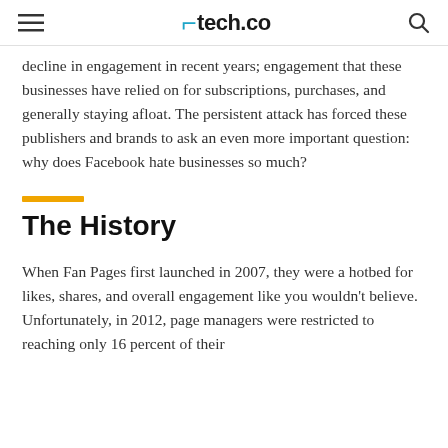tech.co
decline in engagement in recent years; engagement that these businesses have relied on for subscriptions, purchases, and generally staying afloat. The persistent attack has forced these publishers and brands to ask an even more important question: why does Facebook hate businesses so much?
The History
When Fan Pages first launched in 2007, they were a hotbed for likes, shares, and overall engagement like you wouldn't believe. Unfortunately, in 2012, page managers were restricted to reaching only 16 percent of their